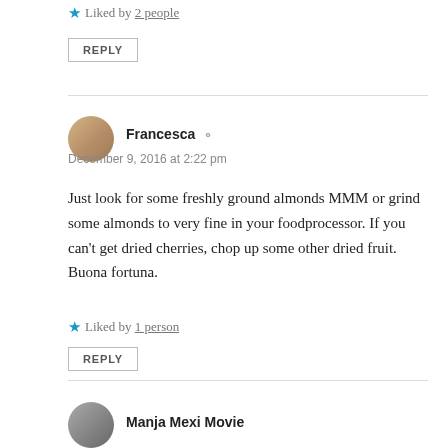Liked by 2 people
REPLY
Francesca
December 9, 2016 at 2:22 pm
Just look for some freshly ground almonds MMM or grind some almonds to very fine in your foodprocessor. If you can’t get dried cherries, chop up some other dried fruit. Buona fortuna.
Liked by 1 person
REPLY
Manja Mexi Movie